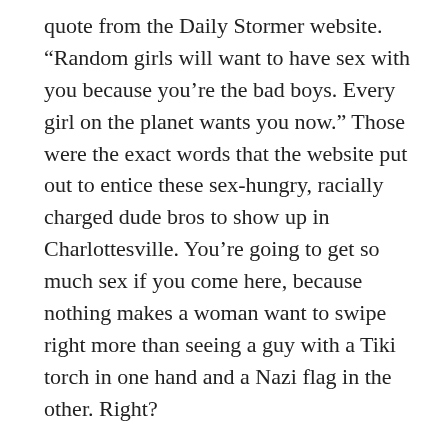quote from the Daily Stormer website. “Random girls will want to have sex with you because you’re the bad boys. Every girl on the planet wants you now.” Those were the exact words that the website put out to entice these sex-hungry, racially charged dude bros to show up in Charlottesville. You’re going to get so much sex if you come here, because nothing makes a woman want to swipe right more than seeing a guy with a Tiki torch in one hand and a Nazi flag in the other. Right?
This also further shows how misogynistic the stupid white nationalists in this country are, because not only do they hate people with different skin colors, they also apparently think of women as prizes that these white supremacists need to win.